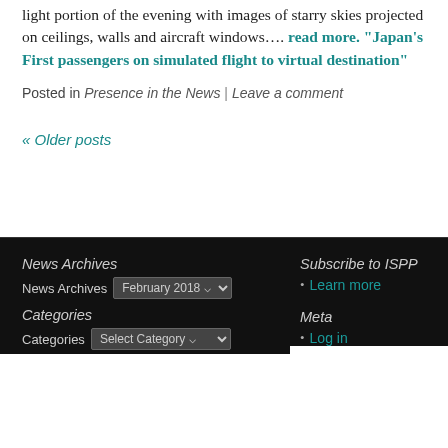light portion of the evening with images of starry skies projected on ceilings, walls and aircraft windows.... read more. “Japan’s First passengers on simulated flight to virtual destination”
Posted in Presence in the News | Leave a comment
« Older posts
News Archives
News Archives February 2018
Categories
Categories Select Category
Subscribe to ISPP
Learn more
Meta
Log in